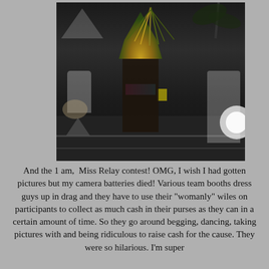[Figure (photo): Night-time photo of traditional dancers in elaborate costumes with large feathered headdresses performing on what appears to be a track or paved surface. Background shows spectators, a drummer in white, and other participants. One central dancer prominently displays a tall yellow and black feathered headdress.]
And the 1 am,  Miss Relay contest! OMG, I wish I had gotten pictures but my camera batteries died! Various team booths dress guys up in drag and they have to use their "womanly" wiles on participants to collect as much cash in their purses as they can in a certain amount of time. So they go around begging, dancing, taking pictures with and being ridiculous to raise cash for the cause. They were so hilarious. I'm super